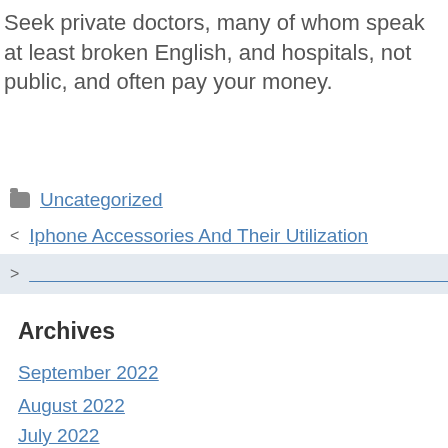Seek private doctors, many of whom speak at least broken English, and hospitals, not public, and often pay your money.
Uncategorized
< Iphone Accessories And Their Utilization
> [Japanese/CJK text link]
Archives
September 2022
August 2022
July 2022
June 2022